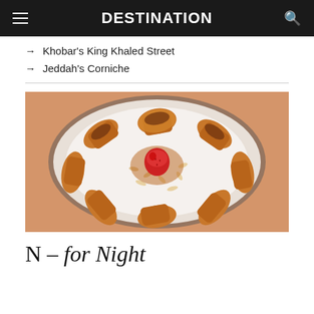DESTINATION
→ Khobar's King Khaled Street
→ Jeddah's Corniche
[Figure (photo): Overhead view of a white plate with pastries arranged in a star pattern, topped with toasted almond flakes and a strawberry in the center, with caramel sauce]
N – for Night